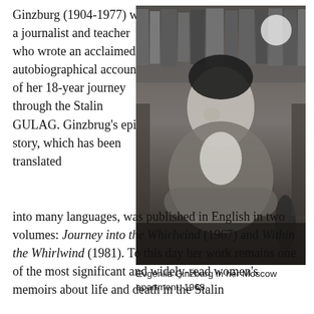Ginzburg (1904-1977) was a journalist and teacher who wrote an acclaimed autobiographical account of her 18-year journey through the Stalin GULAG. Ginzbrug's epic story, which has been translated into many languages, was published in English in two volumes: Journey into the Whirlwind (1967) and Within the Whirlwind (1981). To this day her work remains one of the most significant and widely-read women's memoirs about life and death in the Stalin
[Figure (photo): Black and white photograph of Evgeniia Ginzburg seated in front of a bookshelf in her Moscow apartment, 1968.]
Evgeniia Ginzburg in her Moscow apartment, 1968.